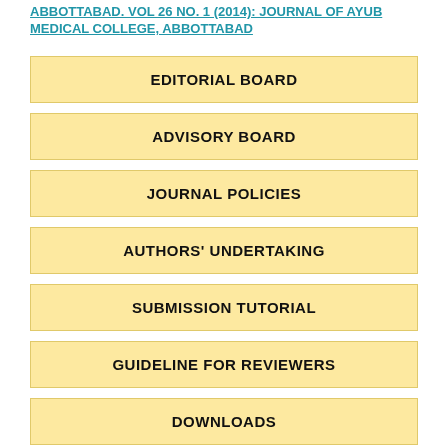ABBOTTABAD. VOL 26 NO. 1 (2014): JOURNAL OF AYUB MEDICAL COLLEGE, ABBOTTABAD
EDITORIAL BOARD
ADVISORY BOARD
JOURNAL POLICIES
AUTHORS' UNDERTAKING
SUBMISSION TUTORIAL
GUIDELINE FOR REVIEWERS
DOWNLOADS
CONTACT US